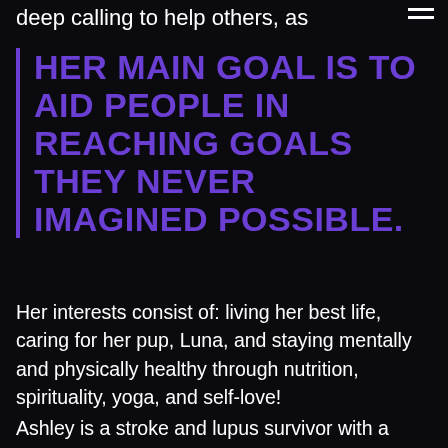deep calling to help others, as
HER MAIN GOAL IS TO AID PEOPLE IN REACHING GOALS THEY NEVER IMAGINED POSSIBLE.
Her interests consist of: living her best life, caring for her pup, Luna, and staying mentally and physically healthy through nutrition, spirituality, yoga, and self-love!
Ashley is a stroke and lupus survivor with a level of resilience strong enough to move